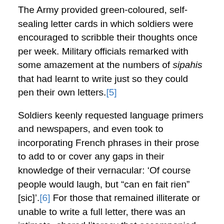The Army provided green-coloured, self-sealing letter cards in which soldiers were encouraged to scribble their thoughts once per week. Military officials remarked with some amazement at the numbers of sipahis that had learnt to write just so they could pen their own letters.[5]
Soldiers keenly requested language primers and newspapers, and even took to incorporating French phrases in their prose to add to or cover any gaps in their knowledge of their vernacular: ‘Of course people would laugh, but “can en fait rien” [sic]’.[6] For those that remained illiterate or unable to write a full letter, there was an intimate, shared literacy that accompanied the asking of a friend or acquaintance in the platoon to help pen a letter; a collective literacy of shared language, metaphor and sentiment. By the autumn of 1915, there were up to fifty thousand letters being written by, to and between